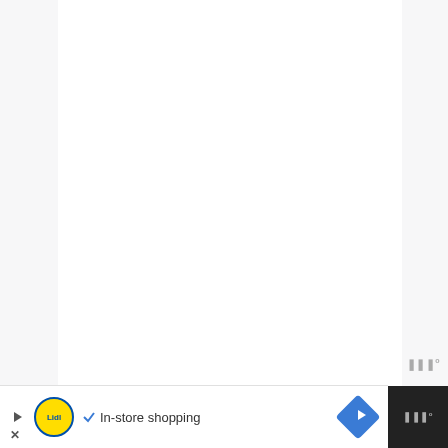[Figure (screenshot): White content card area at top of page with light gray background]
Again, the ingredients can turn the hair around, leaving it soft and nice to look at.
Who wouldn't want that kind of hair?
Plus, it has a long hold after helping you
[Figure (other): Advertisement bar at bottom: Lidl logo, In-store shopping text, navigation arrow icon, and dark panel with watermark]
In-store shopping